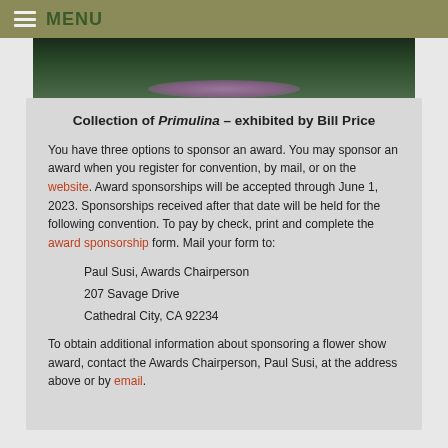MENU
[Figure (photo): A dark-background photo showing a collection of Primulina plants with purple/pink flowers]
Collection of Primulina – exhibited by Bill Price
You have three options to sponsor an award. You may sponsor an award when you register for convention, by mail, or on the website. Award sponsorships will be accepted through June 1, 2023. Sponsorships received after that date will be held for the following convention. To pay by check, print and complete the award sponsorship form. Mail your form to:
Paul Susi, Awards Chairperson
207 Savage Drive
Cathedral City, CA 92234
To obtain additional information about sponsoring a flower show award, contact the Awards Chairperson, Paul Susi, at the address above or by email.